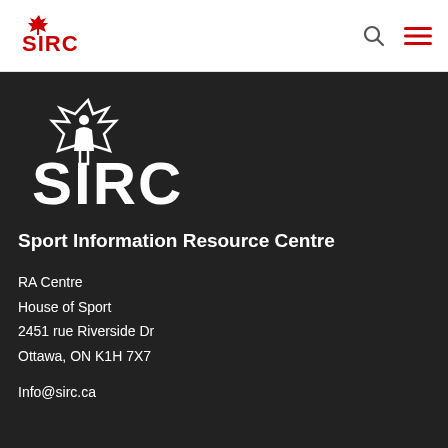[Figure (logo): SIRC logo in red with maple leaf and figure, header version]
[Figure (logo): SIRC large white logo with maple leaf and figure on dark background]
Sport Information Resource Centre
RA Centre
House of Sport
2451 rue Riverside Dr
Ottawa, ON K1H 7X7
Info@sirc.ca